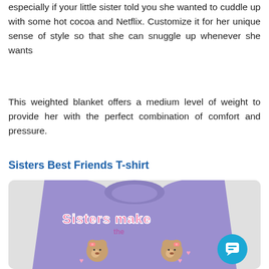especially if your little sister told you she wanted to cuddle up with some hot cocoa and Netflix. Customize it for her unique sense of style so that she can snuggle up whenever she wants
This weighted blanket offers a medium level of weight to provide her with the perfect combination of comfort and pressure.
Sisters Best Friends T-shirt
[Figure (photo): A purple/lavender long-sleeve t-shirt with cartoon bear characters and text that reads 'Sisters make the' in pink lettering, with two cute bear characters wearing pink bows and pink outfits, surrounded by pink hearts.]